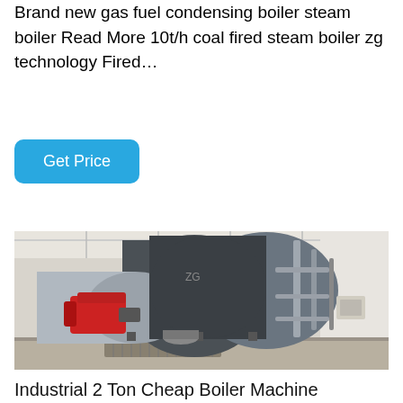Brand new gas fuel condensing boiler steam boiler Read More 10t/h coal fired steam boiler zg technology Fired…
[Figure (photo): Industrial gas-fired steam boiler in a factory setting, showing a large grey cylindrical boiler body with a red burner unit attached at the front, piping and support structures visible in a white-walled industrial room.]
Industrial 2 Ton Cheap Boiler Machine